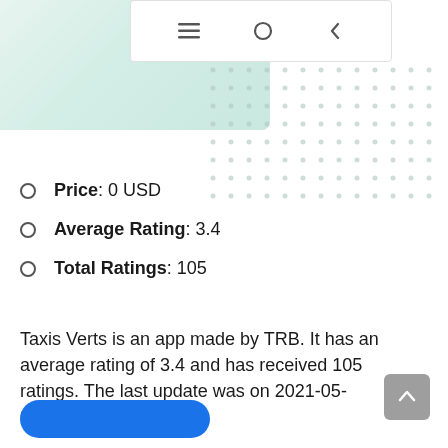[Figure (screenshot): Mobile app screenshot showing a navigation bar with hamburger menu, circle, and back arrow icons over a teal/green background, with a decorative dot grid pattern on the right side]
Price: 0 USD
Average Rating: 3.4
Total Ratings: 105
Taxis Verts is an app made by TRB. It has an average rating of 3.4 and has received 105 ratings. The last update was on 2021-05-05T16:21:32.000Z.